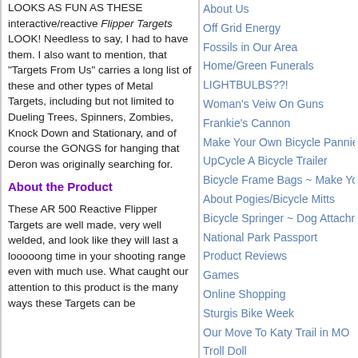LOOKS AS FUN AS THESE interactive/reactive Flipper Targets LOOK! Needless to say, I had to have them. I also want to mention, that "Targets From Us" carries a long list of these and other types of Metal Targets, including but not limited to Dueling Trees, Spinners, Zombies, Knock Down and Stationary, and of course the GONGS for hanging that Deron was originally searching for.
About the Product
These AR 500 Reactive Flipper Targets are well made, very well welded, and look like they will last a looooong time in your shooting range even with much use. What caught our attention to this product is the many ways these Targets can be
About Us
Off Grid Energy
Fossils in Our Area
Home/Green Funerals
LIGHTBULBS??!
Woman's Veiw On Guns
Frankie's Cannon
Make Your Own Bicycle Panniers &
UpCycle A Bicycle Trailer
Bicycle Frame Bags ~ Make Your O
About Pogies/Bicycle Mitts
Bicycle Springer ~ Dog Attachment
National Park Passport
Product Reviews
Games
Online Shopping
Sturgis Bike Week
Our Move To Katy Trail in MO
Troll Doll
18" Doll Restoration and FREE Clo
Patty Play Pall Restorations and FR
Chatty Cathy Fix Up, Clean Up, Res
Chatty Baby Restoration
Tiny Chatty Baby